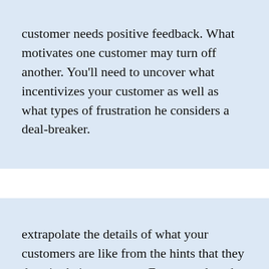customer needs positive feedback. What motivates one customer may turn off another. You'll need to uncover what incentivizes your customer as well as what types of frustration he considers a deal-breaker.
extrapolate the details of what your customers are like from the hints that they drop in their responses. For example, what can you deduce from someone who mentions, “Oh yeah, I tried an app to help me do that”? That sentence reveals that she: Has a smartphone Has